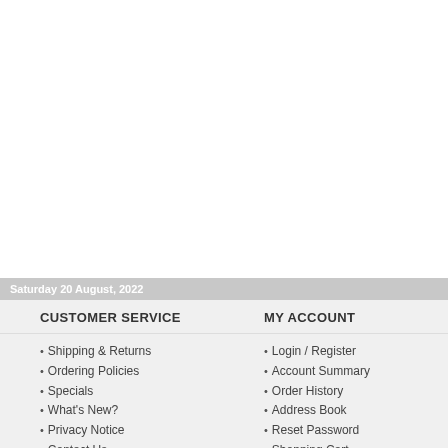Saturday 20 August, 2022
CUSTOMER SERVICE
MY ACCOUNT
Shipping & Returns
Ordering Policies
Specials
What's New?
Privacy Notice
Contact Us
Login / Register
Account Summary
Order History
Address Book
Reset Password
Shopping Cart